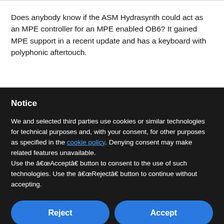Does anybody know if the ASM Hydrasynth could act as an MPE controller for an MPE enabled OB6? It gained MPE support in a recent update and has a keyboard with polyphonic aftertouch.
Notice
We and selected third parties use cookies or similar technologies for technical purposes and, with your consent, for other purposes as specified in the cookie policy. Denying consent may make related features unavailable.
Use the “Accept” button to consent to the use of such technologies. Use the “Reject” button to continue without accepting.